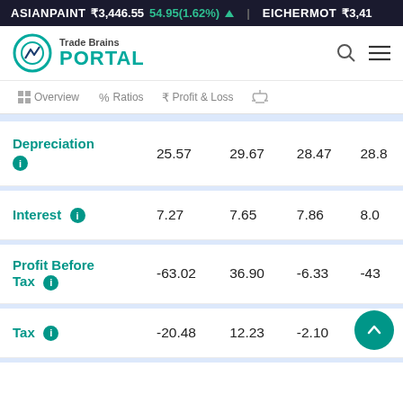ASIANPAINT ₹3,446.55 54.95(1.62%) ▲   EICHERMOT ₹3,41
[Figure (logo): Trade Brains Portal logo with teal circular icon and navigation icons]
Overview | % Ratios | ₹ Profit & Loss | ⚖
|  |  |  |  |  |
| --- | --- | --- | --- | --- |
| Depreciation ℹ | 25.57 | 29.67 | 28.47 | 28.8 |
| Interest ℹ | 7.27 | 7.65 | 7.86 | 8.0 |
| Profit Before Tax ℹ | -63.02 | 36.90 | -6.33 | -43 |
| Tax ℹ | -20.48 | 12.23 | -2.10 |  |